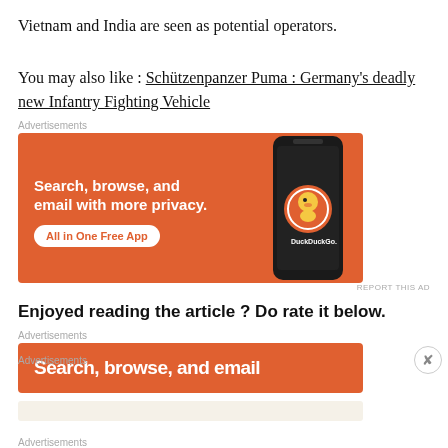Vietnam and India are seen as potential operators.
You may also like : Schützenpanzer Puma : Germany's deadly new Infantry Fighting Vehicle
Advertisements
[Figure (screenshot): DuckDuckGo advertisement banner with orange background. Text: 'Search, browse, and email with more privacy. All in One Free App'. Shows a smartphone with DuckDuckGo app.]
REPORT THIS AD
Enjoyed reading the article ? Do rate it below.
Advertisements
[Figure (screenshot): DuckDuckGo advertisement banner (partial): 'Search, browse, and email' on orange background.]
Advertisements
[Figure (screenshot): WordPress advertisement: 'Professionally designed sites in less than a week' with WordPress logo.]
REPORT THIS AD